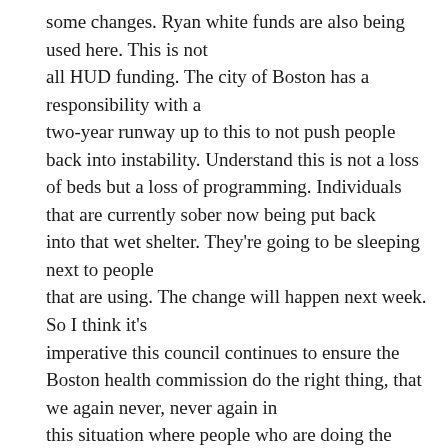some changes. Ryan white funds are also being used here. This is not all HUD funding. The city of Boston has a responsibility with a two-year runway up to this to not push people back into instability. Understand this is not a loss of beds but a loss of programming. Individuals that are currently sober now being put back into that wet shelter. They're going to be sleeping next to people that are using. The change will happen next week. So I think it's imperative this council continues to ensure the Boston health commission do the right thing, that we again never, never again in this situation where people who are doing the right thing every day, trying their hardest are now put in a position of instability. We failed those three people that were in jail. We failed them. We